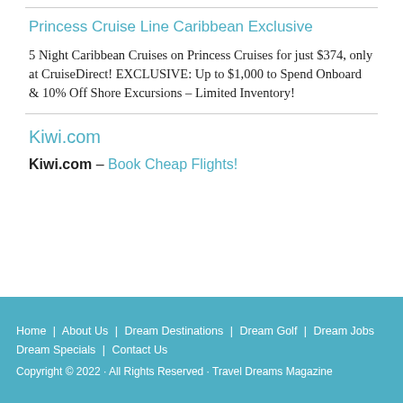Princess Cruise Line Caribbean Exclusive
5 Night Caribbean Cruises on Princess Cruises for just $374, only at CruiseDirect! EXCLUSIVE: Up to $1,000 to Spend Onboard & 10% Off Shore Excursions - Limited Inventory!
Kiwi.com
Kiwi.com – Book Cheap Flights!
Home | About Us | Dream Destinations | Dream Golf | Dream Jobs | Dream Specials | Contact Us
Copyright © 2022 · All Rights Reserved · Travel Dreams Magazine